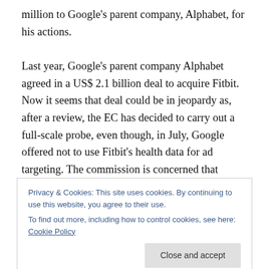million to Google's parent company, Alphabet, for his actions.
Last year, Google's parent company Alphabet agreed in a US$ 2.1 billion deal to acquire Fitbit. Now it seems that deal could be in jeopardy as, after a review, the EC has decided to carry out a full-scale probe, even though, in July, Google offered not to use Fitbit's health data for ad targeting. The commission is concerned that Google's acquisition could further entrench its market position in the online advertising world. Although a pioneer in the fitness
Privacy & Cookies: This site uses cookies. By continuing to use this website, you agree to their use.
To find out more, including how to control cookies, see here: Cookie Policy
It seems that the US President made a call last weekend